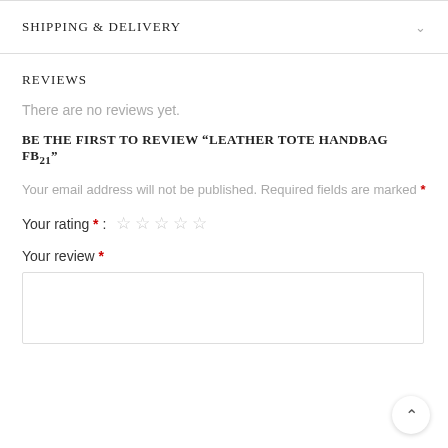SHIPPING & DELIVERY
REVIEWS
There are no reviews yet.
BE THE FIRST TO REVIEW “LEATHER TOTE HANDBAG FB21”
Your email address will not be published. Required fields are marked *
Your rating *: ☆☆☆☆☆
Your review *